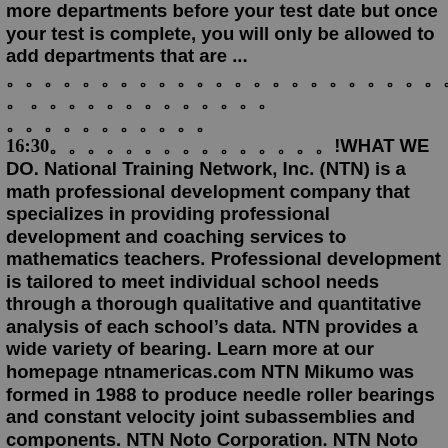more departments before your test date but once your test is complete, you will only be allowed to add departments that are ... 。。。。。。。。。。。。。。。。。。。。。。。。。。。。。。。。。。。。。。。。。。。。。 。 。。。。。。。。。。。。。 。。。。。。。。。。。16:30。。。。。。。。。。。。。。。!WHAT WE DO. National Training Network, Inc. (NTN) is a math professional development company that specializes in providing professional development and coaching services to mathematics teachers. Professional development is tailored to meet individual school needs through a thorough qualitative and quantitative analysis of each school's data. NTN provides a wide variety of bearing. Learn more at our homepage ntnamericas.com NTN Mikumo was formed in 1988 to produce needle roller bearings and constant velocity joint subassemblies and components. NTN Noto Corporation. NTN Noto Corporation was established in Hakui, Ishikawa, to produce and distribute bearings for construction, industrial wind power, mining and steel clientele. The company plans to begin operations in ... The National Testing